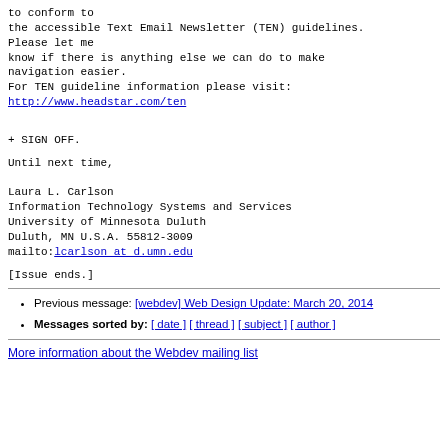to conform to
the accessible Text Email Newsletter (TEN) guidelines.
Please let me
know if there is anything else we can do to make
navigation easier.
For TEN guideline information please visit:
http://www.headstar.com/ten
+ SIGN OFF.
Until next time,

Laura L. Carlson
Information Technology Systems and Services
University of Minnesota Duluth
Duluth, MN U.S.A. 55812-3009
mailto:lcarlson at d.umn.edu
[Issue ends.]
Previous message: [webdev] Web Design Update: March 20, 2014
Messages sorted by: [ date ] [ thread ] [ subject ] [ author ]
More information about the Webdev mailing list